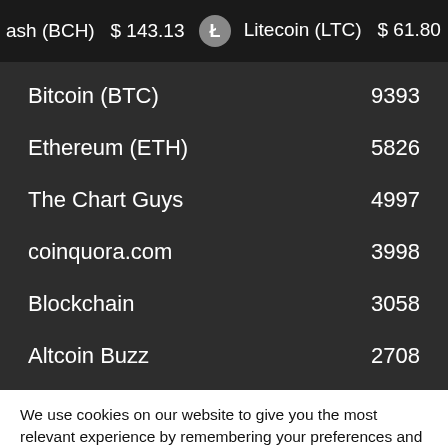ash (BCH) $143.13  Litecoin (LTC) $61.80  EOS (EO
Bitcoin (BTC)  9393
Ethereum (ETH)  5826
The Chart Guys  4997
coinquora.com  3998
Blockchain  3058
Altcoin Buzz  2708
We use cookies on our website to give you the most relevant experience by remembering your preferences and repeat visits. By clicking “Accept”, you consent to the use of ALL the cookies.
Do not sell my personal information.
Cookie settings  ACCEPT